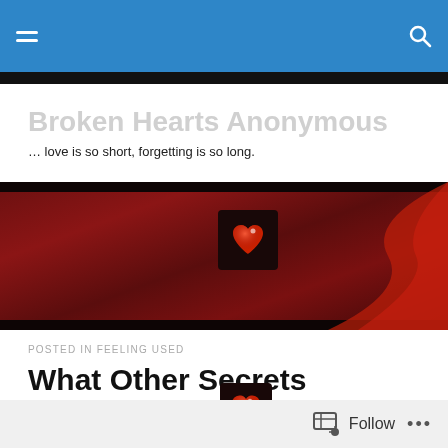Broken Hearts Anonymous — navigation bar
Broken Hearts Anonymous
… love is so short, forgetting is so long.
[Figure (photo): Dark red banner with a glowing red heart icon on a black square background and red swoosh design on the right]
POSTED IN FEELING USED
What Other Secrets
[Figure (photo): Small glowing red heart icon on dark background]
Follow  •••